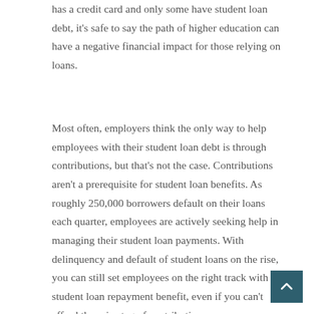has a credit card and only some have student loan debt, it's safe to say the path of higher education can have a negative financial impact for those relying on loans.
Most often, employers think the only way to help employees with their student loan debt is through contributions, but that's not the case. Contributions aren't a prerequisite for student loan benefits. As roughly 250,000 borrowers default on their loans each quarter, employees are actively seeking help in managing their student loan payments. With delinquency and default of student loans on the rise, you can still set employees on the right track with a student loan repayment benefit, even if you can't afford the price tag of contributions.